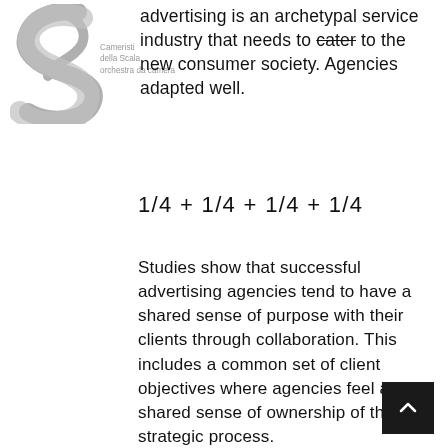[Figure (logo): Stylized ampersand/S logo in gray for Cameristi della Scala orchestra da camera]
Cameristi
della Scala
orchestra da camera
advertising is an archetypal service industry that needs to cater to the new consumer society. Agencies adapted well.
Studies show that successful advertising agencies tend to have a shared sense of purpose with their clients through collaboration. This includes a common set of client objectives where agencies feel a shared sense of ownership of the strategic process.
Successful advertisements start with clients building a good relationship with the agencies and work together to figure out what their objectives are. Clients must trust the agencies to do their jobs correctly and